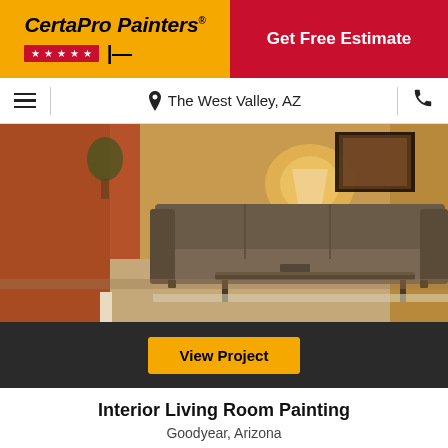[Figure (logo): CertaPro Painters logo on gold/yellow background with red star strip and brush icon, next to a red 'Get Free Estimate' button]
The West Valley, AZ
[Figure (photo): Interior living room with orange/terra cotta walls, leather sofa, lamp, coffee table and artwork on wall]
View Project
Interior Living Room Painting
Goodyear, Arizona
[Figure (photo): Exterior of a house with terracotta roof tiles and blue sky, partially visible at bottom of page]